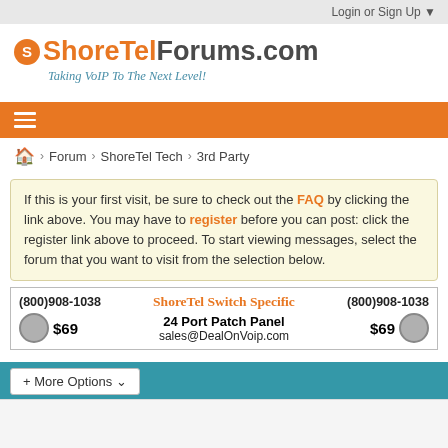Login or Sign Up ▼
[Figure (logo): ShoreTelForums.com logo with orange S icon and tagline 'Taking VoIP To The Next Level!']
[Figure (infographic): Orange navigation bar with hamburger menu icon]
Forum > ShoreTel Tech > 3rd Party
If this is your first visit, be sure to check out the FAQ by clicking the link above. You may have to register before you can post: click the register link above to proceed. To start viewing messages, select the forum that you want to visit from the selection below.
[Figure (other): Advertisement banner: (800)908-1038 ShoreTel Switch Specific (800)908-1038 $69 24 Port Patch Panel $69 sales@DealOnVoip.com]
+ More Options ▾